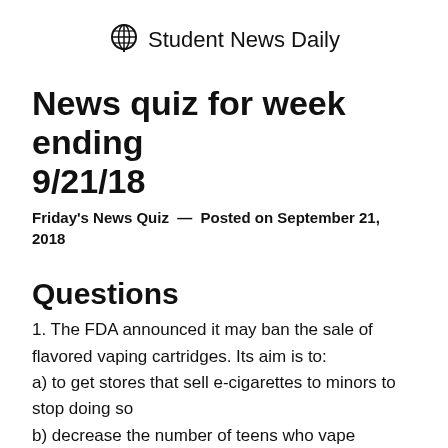Student News Daily
News quiz for week ending 9/21/18
Friday's News Quiz  —  Posted on September 21, 2018
Questions
1. The FDA announced it may ban the sale of flavored vaping cartridges. Its aim is to:
a) to get stores that sell e-cigarettes to minors to stop doing so
b) decrease the number of teens who vape
c) neither a) nor b)